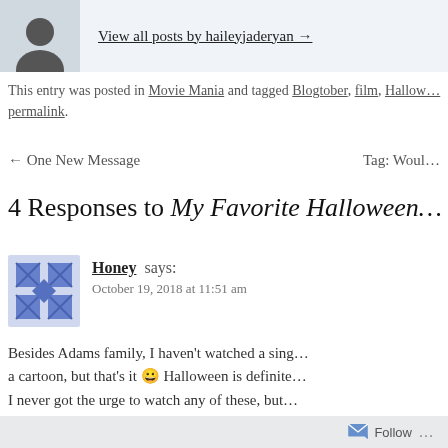[Figure (photo): Partial avatar/profile photo silhouette in a light blue-grey box]
View all posts by haileyjaderyan →
This entry was posted in Movie Mania and tagged Blogtober, film, Hallow… permalink.
← One New Message    Tag: Woul…
4 Responses to My Favorite Halloween…
[Figure (illustration): Blue decorative avatar icon with X/diamond pattern for commenter Honey]
Honey says:
October 19, 2018 at 11:51 am
Besides Adams family, I haven't watched a sing… a cartoon, but that's it 😀 Halloween is definite… I never got the urge to watch any of these, but… swears by Hocus Pocus and The Nightmare Be… watch them eventually. Maybe in like 30 years c…
Follow …